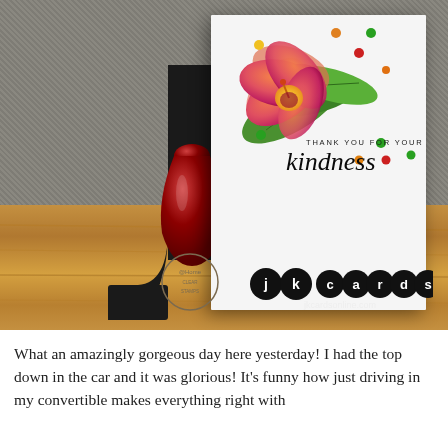[Figure (photo): Photo of a handmade thank-you greeting card leaning against a large black letter J prop, with a dark red vase, all on a wooden surface against a gray textile background. The card features a hibiscus flower, tropical leaves, colorful dots, and the text 'THANK YOU FOR YOUR kindness'. A jkcardsonline.com logo watermark is overlaid.]
What an amazingly gorgeous day here yesterday! I had the top down in the car and it was glorious! It's funny how just driving in my convertible makes everything right with